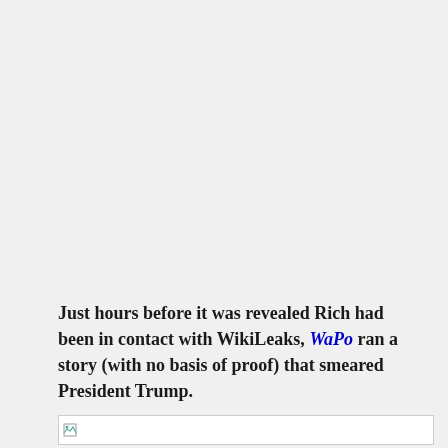Just hours before it was revealed Rich had been in contact with WikiLeaks, WaPo ran a story (with no basis of proof) that smeared President Trump.
[Figure (other): Broken/placeholder image icon in a white bordered rectangle at the bottom of the page]